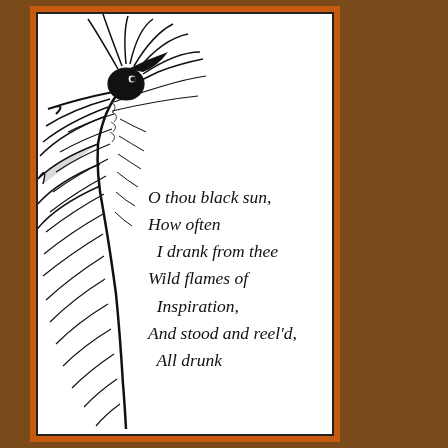[Figure (illustration): Black ink illustration of a phoenix bird with elaborate feathers curling downward, drawn in detailed line art style]
O thou black sun, How often I drank from thee Wild flames of Inspiration, And stood and reel'd, All drunk